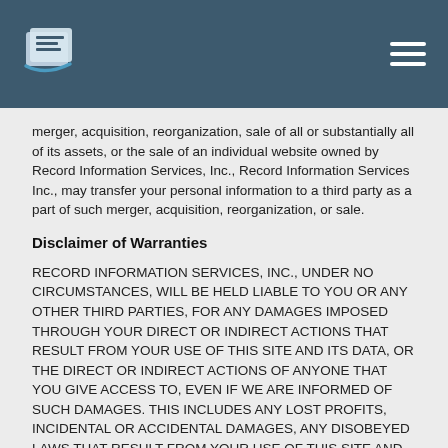Record Information Services header with logo and navigation menu
merger, acquisition, reorganization, sale of all or substantially all of its assets, or the sale of an individual website owned by Record Information Services, Inc., Record Information Services Inc., may transfer your personal information to a third party as a part of such merger, acquisition, reorganization, or sale.
Disclaimer of Warranties
RECORD INFORMATION SERVICES, INC., UNDER NO CIRCUMSTANCES, WILL BE HELD LIABLE TO YOU OR ANY OTHER THIRD PARTIES, FOR ANY DAMAGES IMPOSED THROUGH YOUR DIRECT OR INDIRECT ACTIONS THAT RESULT FROM YOUR USE OF THIS SITE AND ITS DATA, OR THE DIRECT OR INDIRECT ACTIONS OF ANYONE THAT YOU GIVE ACCESS TO, EVEN IF WE ARE INFORMED OF SUCH DAMAGES. THIS INCLUDES ANY LOST PROFITS, INCIDENTAL OR ACCIDENTAL DAMAGES, ANY DISOBEYED LAWS THAT RESULT FROM YOUR USE OF THIS SITE AND ITS DATA, AND ANY AND ALL OTHER POSSIBLE DAMAGES. THERE ARE ABSOLUTELY NO WARRANTIES INCLUDED WITH YOUR USE OF THIS SITE AND ITS DATA, AND YOU ASSUME ANY AND ALL